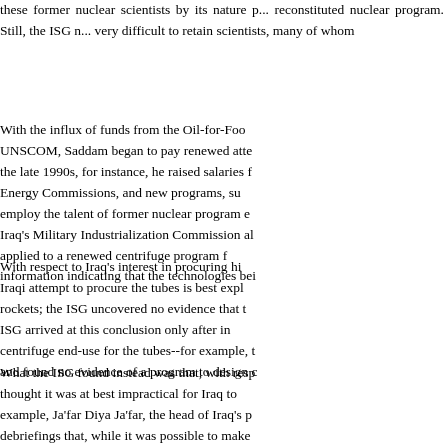these former nuclear scientists by its nature p... reconstituted nuclear program. Still, the ISG n... very difficult to retain scientists, many of whom...
With the influx of funds from the Oil-for-Food... UNSCOM, Saddam began to pay renewed attention... the late 1990s, for instance, he raised salaries f... Energy Commissions, and new programs, su... employ the talent of former nuclear program e... Iraq's Military Industrialization Commission al... applied to a renewed centrifuge program f... information indicating that the technologies bei...
With respect to Iraq's interest in procuring hi... Iraqi attempt to procure the tubes is best expl... rockets; the ISG uncovered no evidence that t... ISG arrived at this conclusion only after in... centrifuge end-use for the tubes--for example, t... and found no evidence of a program to design o...
What the ISG found instead was that, with resp... thought it was at best impractical for Iraq to... example, Ja'far Diya Ja'far, the head of Iraq's p... debriefings that, while it was possible to make... to do so. 95 He also said that using 81 millimete...